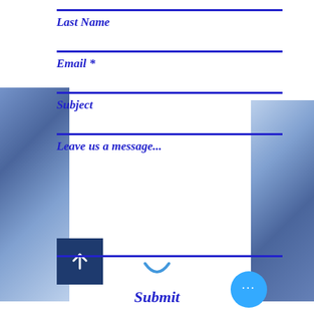Last Name
Email *
Subject
Leave us a message...
Submit